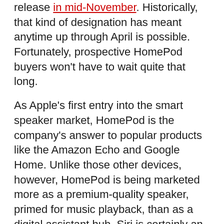release in mid-November. Historically, that kind of designation has meant anytime up through April is possible. Fortunately, prospective HomePod buyers won't have to wait quite that long.
As Apple's first entry into the smart speaker market, HomePod is the company's answer to popular products like the Amazon Echo and Google Home. Unlike those other devices, however, HomePod is being marketed more as a premium-quality speaker, primed for music playback, than as a digital assistant hub. Siri is certainly an important component of the device, but at least for now, its role is being somewhat downplayed. At WWDC Phil Schiller announced that at launch, the HomePod's version of Siri will only support a limited number of domains.